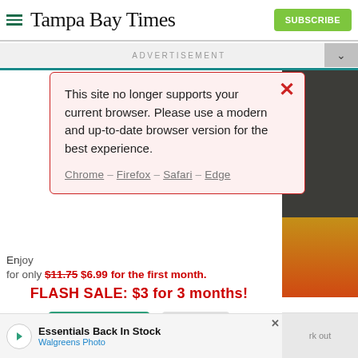Tampa Bay Times — SUBSCRIBE
ADVERTISEMENT
[Figure (screenshot): Browser compatibility warning modal with red border on pink background. Message: 'This site no longer supports your current browser. Please use a modern and up-to-date browser version for the best experience.' Links: Chrome – Firefox – Safari – Edge]
for only $11.75 $6.99 for the first month.
FLASH SALE: $3 for 3 months!
Subscribe   Log In
Interested in print delivery? Subscribe here →
Essentials Back In Stock
Walgreens Photo